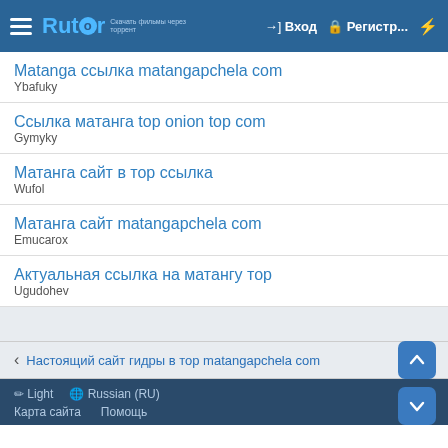Rutor — Вход | Регистр...
Matanga ссылка matangapchela com
Ybafuky
Ссылка матанга top onion top com
Gymyky
Матанга сайт в тор ссылка
Wufol
Матанга сайт matangapchela com
Emucarox
Актуальная ссылка на матангу тор
Ugudohev
Настоящий сайт гидры в тор matangapchela com
Light   Russian (RU)   Карта сайта   Помощь